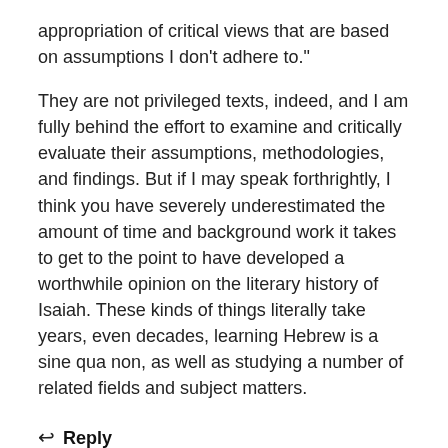appropriation of critical views that are based on assumptions I don't adhere to."
They are not privileged texts, indeed, and I am fully behind the effort to examine and critically evaluate their assumptions, methodologies, and findings. But if I may speak forthrightly, I think you have severely underestimated the amount of time and background work it takes to get to the point to have developed a worthwhile opinion on the literary history of Isaiah. These kinds of things literally take years, even decades, learning Hebrew is a sine qua non, as well as studying a number of related fields and subject matters.
↩ Reply